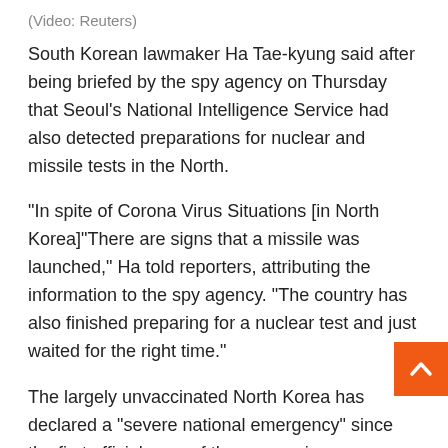(Video: Reuters)
South Korean lawmaker Ha Tae-kyung said after being briefed by the spy agency on Thursday that Seoul’s National Intelligence Service had also detected preparations for nuclear and missile tests in the North.
“In spite of Corona Virus Situations [in North Korea]”There are signs that a missile was launched,” Ha told reporters, attributing the information to the spy agency. “The country has also finished preparing for a nuclear test and just waited for the right time.”
The largely unvaccinated North Korea has declared a “severe national emergency” since the first official case of the coronavirus was reported last week. Because of the lack of testing capacity there, the true scale of outbreak in the reclusive country is unclear, but state media have estimated nearly two million possible